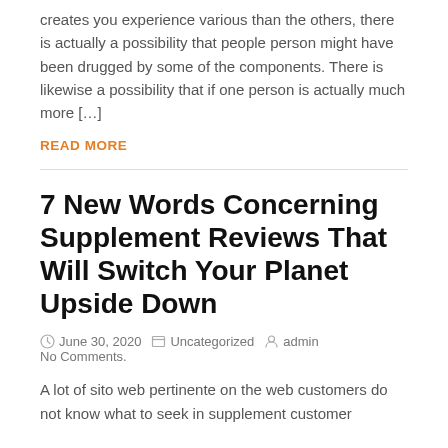creates you experience various than the others, there is actually a possibility that people person might have been drugged by some of the components. There is likewise a possibility that if one person is actually much more […]
READ MORE
7 New Words Concerning Supplement Reviews That Will Switch Your Planet Upside Down
June 30, 2020   Uncategorized   admin   No Comments.
A lot of sito web pertinente on the web customers do not know what to seek in supplement customer